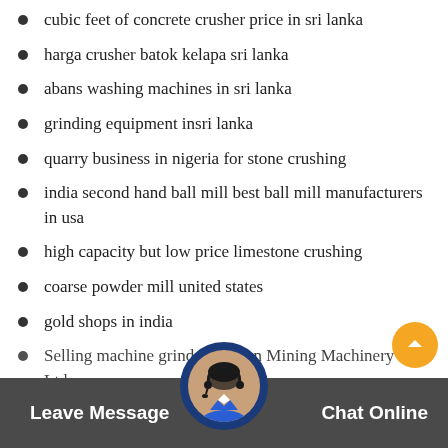cubic feet of concrete crusher price in sri lanka
harga crusher batok kelapa sri lanka
abans washing machines in sri lanka
grinding equipment insri lanka
quarry business in nigeria for stone crushing
india second hand ball mill best ball mill manufacturers in usa
high capacity but low price limestone crushing
coarse powder mill united states
gold shops in india
Selling machine grind mille... an Mining Machinery Co Ltd
environmental barite dust catcher in Tajikistan
Leave Message   Chat Online